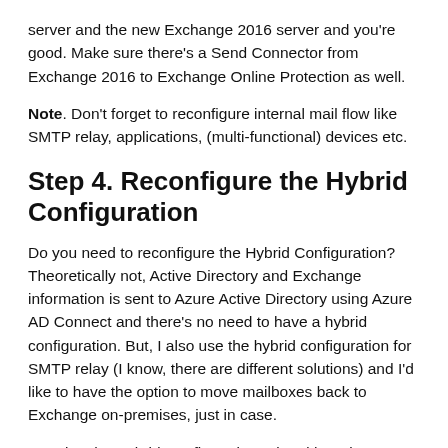server and the new Exchange 2016 server and you're good. Make sure there's a Send Connector from Exchange 2016 to Exchange Online Protection as well.
Note. Don't forget to reconfigure internal mail flow like SMTP relay, applications, (multi-functional) devices etc.
Step 4. Reconfigure the Hybrid Configuration
Do you need to reconfigure the Hybrid Configuration? Theoretically not, Active Directory and Exchange information is sent to Azure Active Directory using Azure AD Connect and there's no need to have a hybrid configuration. But, I also use the hybrid configuration for SMTP relay (I know, there are different solutions) and I'd like to have the option to move mailboxes back to Exchange on-premises, just in case.
Running the Hybrid Configuration Wizard here is not different